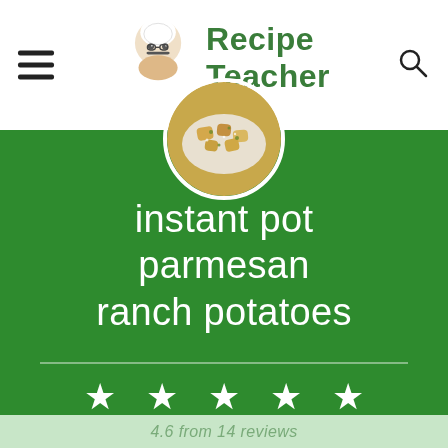Recipe Teacher
[Figure (photo): Circular food photo showing parmesan ranch potatoes on a plate, overlapping the header and green background section]
instant pot parmesan ranch potatoes
★ ★ ★ ★ ★
4.6 from 14 reviews